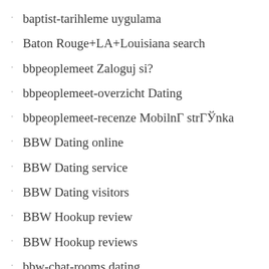baptist-tarihleme uygulama
Baton Rouge+LA+Louisiana search
bbpeoplemeet Zaloguj si?
bbpeoplemeet-overzicht Dating
bbpeoplemeet-recenze MobilnГ strГЎnka
BBW Dating online
BBW Dating service
BBW Dating visitors
BBW Hookup review
BBW Hookup reviews
bbw-chat-rooms dating
bbw dating reviews